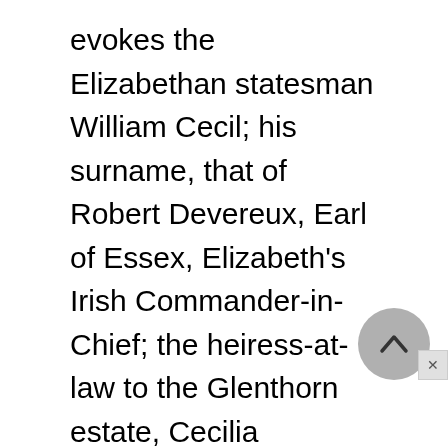evokes the Elizabethan statesman William Cecil; his surname, that of Robert Devereux, Earl of Essex, Elizabeth's Irish Commander-in-Chief; the heiress-at-law to the Glenthorn estate, Cecilia Delamere, is yet another Elizabethan arriviste. Giving us three more Cecils can be no oversight; though Cecil and Cecilia are presented as virtuous, they are heavily outnumbered in the novel's pack of Englishmen, beginning with the aristocrats Henry Cecil and Glenthorn